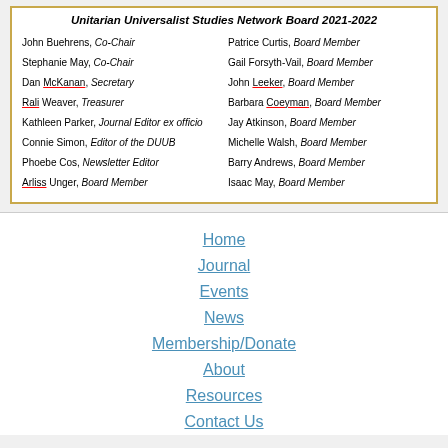Unitarian Universalist Studies Network Board 2021-2022
John Buehrens, Co-Chair
Patrice Curtis, Board Member
Stephanie May, Co-Chair
Gail Forsyth-Vail, Board Member
Dan McKanan, Secretary
John Leeker, Board Member
Rali Weaver, Treasurer
Barbara Coeyman, Board Member
Kathleen Parker, Journal Editor ex officio
Jay Atkinson, Board Member
Connie Simon, Editor of the DUUB
Michelle Walsh, Board Member
Phoebe Cos, Newsletter Editor
Barry Andrews, Board Member
Arliss Unger, Board Member
Isaac May, Board Member
Home
Journal
Events
News
Membership/Donate
About
Resources
Contact Us